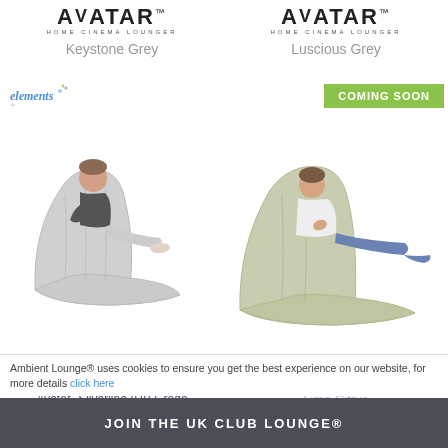[Figure (logo): Avatar Home Cinema Lounger logo]
Keystone Grey
[Figure (logo): Avatar Home Cinema Lounger logo]
Luscious Grey
[Figure (logo): elements brand badge]
[Figure (photo): Person sitting on grey Avatar bean bag lounge chair]
COMING SOON
[Figure (photo): Person reclining on lime/sage Avatar bean bag lounge chair]
[Figure (logo): Avatar Home Cinema Lounger logo]
Avatar- Silverline (UV Grade A Arc)
[Figure (logo): Avatar Home Cinema Lounger logo]
Lime Citrus
Ambient Lounge® uses cookies to ensure you get the best experience on our website, for more details click here
JOIN THE UK CLUB LOUNGE®